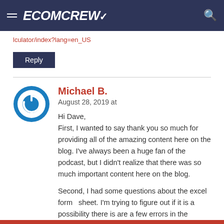ECOMCREW
lculator/index?lang=en_US
Reply
Michael B.
August 28, 2019 at

Hi Dave,
First, I wanted to say thank you so much for providing all of the amazing content here on the blog. I've always been a huge fan of the podcast, but I didn't realize that there was so much important content here on the blog.

Second, I had some questions about the excel forme sheet. I'm trying to figure out if it is a possibility there is are a few errors in the calculations.